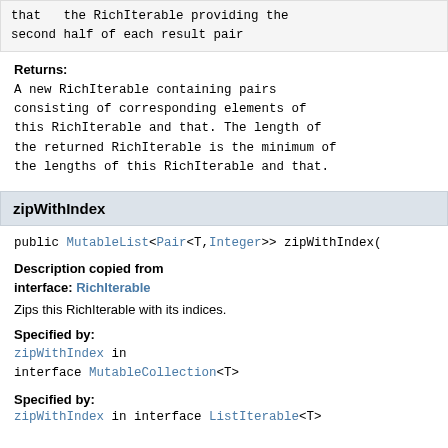that   the RichIterable providing the second half of each result pair
Returns:
A new RichIterable containing pairs consisting of corresponding elements of this RichIterable and that. The length of the returned RichIterable is the minimum of the lengths of this RichIterable and that.
zipWithIndex
public MutableList<Pair<T,Integer>> zipWithIndex(
Description copied from interface: RichIterable
Zips this RichIterable with its indices.
Specified by:
zipWithIndex in interface MutableCollection<T>
Specified by:
zipWithIndex in interface ListIterable<T>